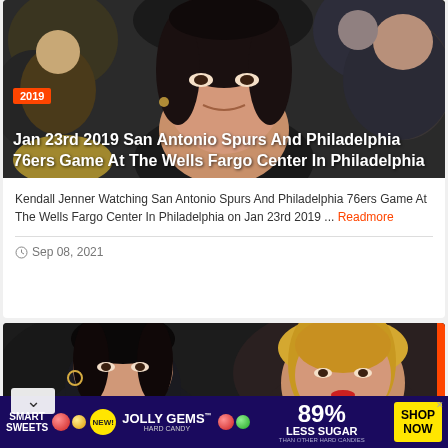[Figure (photo): Woman (Kendall Jenner) at a basketball game, close-up portrait, sitting in crowd, dark background.]
Jan 23rd 2019 San Antonio Spurs And Philadelphia 76ers Game At The Wells Fargo Center In Philadelphia
Kendall Jenner Watching San Antonio Spurs And Philadelphia 76ers Game At The Wells Fargo Center In Philadelphia on Jan 23rd 2019 ... Readmore
Sep 08, 2021
[Figure (photo): Two women sitting at a basketball game. Left: younger dark-haired woman (Kendall Jenner) resting chin on hand. Right: older blonde woman.]
[Figure (photo): Advertisement banner for Smart Sweets Jolly Gems Hard Candy. Text: NEW! JOLLY GEMS Hard Candy. Smart Sweets. 89% Less Sugar than other hard candies. SHOP NOW.]